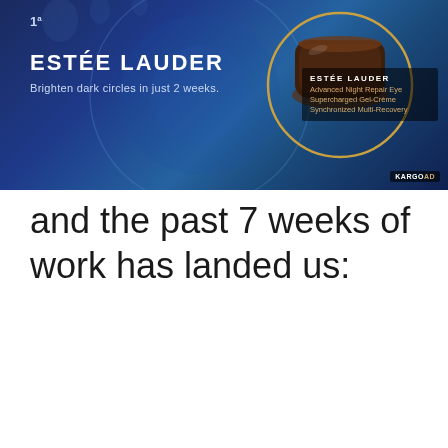[Figure (illustration): Estée Lauder advertisement banner with blue background showing product jar (Advanced Night Repair Eye Supercharged Gel-Crème Synchronized Multi-Recovery) and text 'Brighten dark circles in just 2 weeks.' with KARGO AD badge]
and the past 7 weeks of work has landed us: